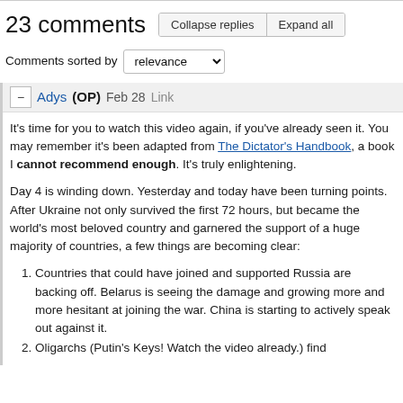23 comments
Comments sorted by relevance
Adys (OP) Feb 28 Link
It's time for you to watch this video again, if you've already seen it. You may remember it's been adapted from The Dictator's Handbook, a book I cannot recommend enough. It's truly enlightening.
Day 4 is winding down. Yesterday and today have been turning points. After Ukraine not only survived the first 72 hours, but became the world's most beloved country and garnered the support of a huge majority of countries, a few things are becoming clear:
Countries that could have joined and supported Russia are backing off. Belarus is seeing the damage and growing more and more hesitant at joining the war. China is starting to actively speak out against it.
Oligarchs (Putin's Keys! Watch the video already.) find